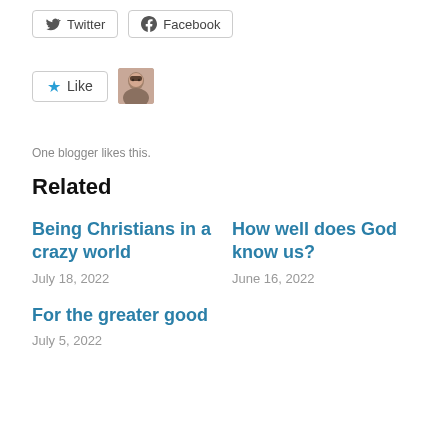[Figure (other): Twitter and Facebook share buttons]
[Figure (other): Like button with star icon and a blogger avatar thumbnail]
One blogger likes this.
Related
Being Christians in a crazy world
July 18, 2022
How well does God know us?
June 16, 2022
For the greater good
July 5, 2022